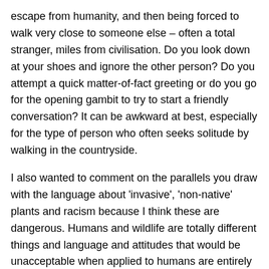escape from humanity, and then being forced to walk very close to someone else – often a total stranger, miles from civilisation. Do you look down at your shoes and ignore the other person? Do you attempt a quick matter-of-fact greeting or do you go for the opening gambit to try to start a friendly conversation? It can be awkward at best, especially for the type of person who often seeks solitude by walking in the countryside.
I also wanted to comment on the parallels you draw with the language about 'invasive', 'non-native' plants and racism because I think these are dangerous. Humans and wildlife are totally different things and language and attitudes that would be unacceptable when applied to humans are entirely appropriate when it comes to wildlife. Seeking to ensure that non-native, non-indigenous, invasive plants and animals do not take the place of native species is a legitimate concern
Expand full comment